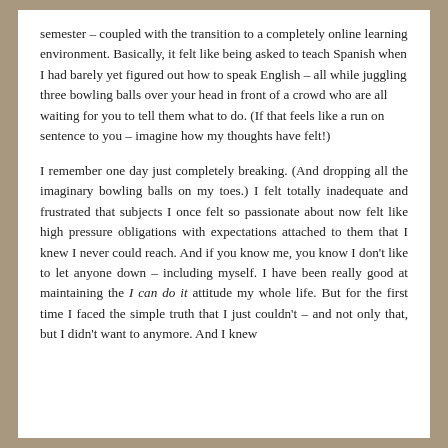semester – coupled with the transition to a completely online learning environment. Basically, it felt like being asked to teach Spanish when I had barely yet figured out how to speak English – all while juggling three bowling balls over your head in front of a crowd who are all waiting for you to tell them what to do. (If that feels like a run on sentence to you – imagine how my thoughts have felt!)
I remember one day just completely breaking. (And dropping all the imaginary bowling balls on my toes.) I felt totally inadequate and frustrated that subjects I once felt so passionate about now felt like high pressure obligations with expectations attached to them that I knew I never could reach. And if you know me, you know I don't like to let anyone down – including myself. I have been really good at maintaining the I can do it attitude my whole life. But for the first time I faced the simple truth that I just couldn't – and not only that, but I didn't want to anymore. And I knew